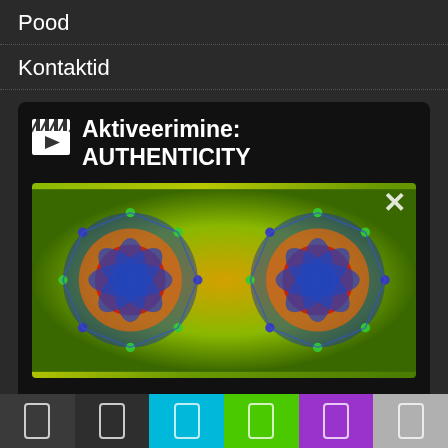Pood
Kontaktid
Aktiveerimine: AUTHENTICITY
[Figure (illustration): Colorful psychedelic mandala/sacred geometry illustration on green-yellow background, showing two mirrored blue and orange mandala-like figures. A white X close button is visible in the top right corner of the image.]
This activation will bring out the best in you. In only a few minutes you will reach a state of being that normally would take hours of meditation. In the movie the
[Figure (infographic): Bottom navigation bar with 6 segments: dark gray, dark gray, cyan/light blue, green, purple, light gray. Each segment contains a white rounded rectangle icon.]